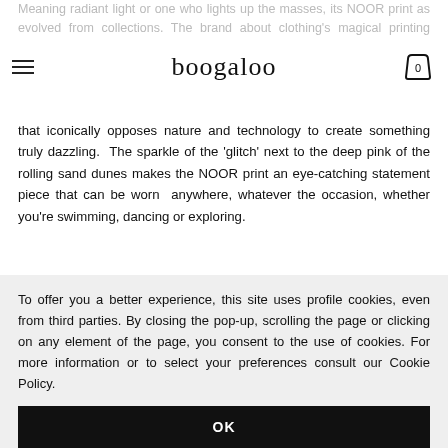boogaloo
Meaning radiant light or one who lights up the masses, its NOOR print as evolved from collections. The brand about clothing's magical printing techniques in Consi uses images 'destroyed' by a faulty hard drive to create a print that iconically opposes nature and technology to create something truly dazzling. The sparkle of the 'glitch' next to the deep pink of the rolling sand dunes makes the NOOR print an eye-catching statement piece that can be worn anywhere, whatever the occasion, whether you're swimming, dancing or exploring.
One-piece swimsuit made in Greece by two-layered stretchy Italian fabric
Plunging neckline accompanied by a low scooped back for minimal tan lines
To offer you a better experience, this site uses profile cookies, even from third parties. By closing the pop-up, scrolling the page or clicking on any element of the page, you consent to the use of cookies. For more information or to select your preferences consult our Cookie Policy.
OK